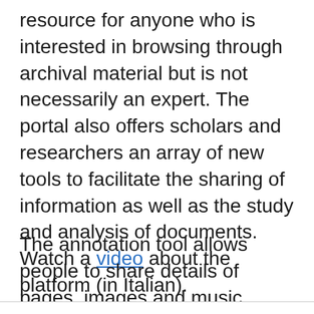resource for anyone who is interested in browsing through archival material but is not necessarily an expert. The portal also offers scholars and researchers an array of new tools to facilitate the sharing of information as well as the study and analysis of documents.  Watch a video about the platform (in Italian).
The annotation tool allows people to share details of pages, images and music directly onto
Hi! Could we please enable some additional services for analytics and security? You can always change or withdraw your consent later.
Let me choose
I DECLINE
OKAY